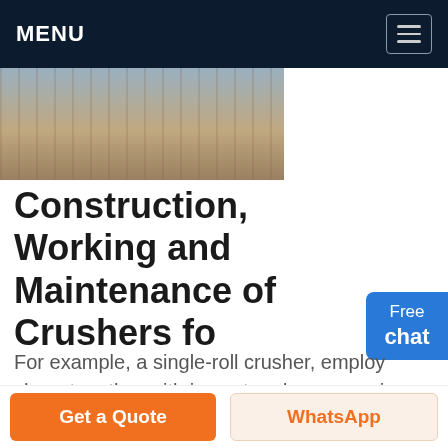MENU
[Figure (photo): Outdoor construction/quarry site with machinery and excavated earth, partial view of industrial crushing equipment in background]
Construction, Working and Maintenance of Crushers fo…
For example, a single-roll crusher, employ shear together with impact and compression. Shear crushing is normally used under following conditions. When material is somewhat friable and has relatively low silica content. For primary crushing with a reduction ratio of 6 to 1. When a relatively coarse product is desired, top size usually larger
Get a Quote  WhatsApp